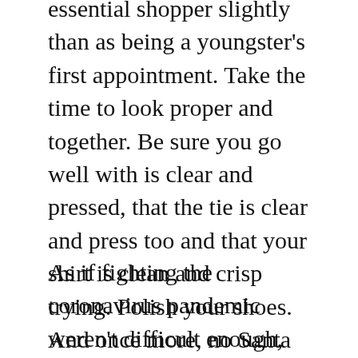essential shopper slightly than as being a youngster's first appointment. Take the time to look proper and together. Be sure you go well with is clear and pressed, that the tie is clear and press too and that your shirt is clean and crisp trying. Polish your shoes. And once more, no Santa hats, reindeer antlers and ties that play “Jingle Bells”. You wish to give you a superb impression together along with your co-staff, your coworkers and her boss too.
As if fighting the coronavirus pandemic weren't difficult enough, cybercriminals are making things more difficult for healthcare providers and humanitarian groups. Assaults have already